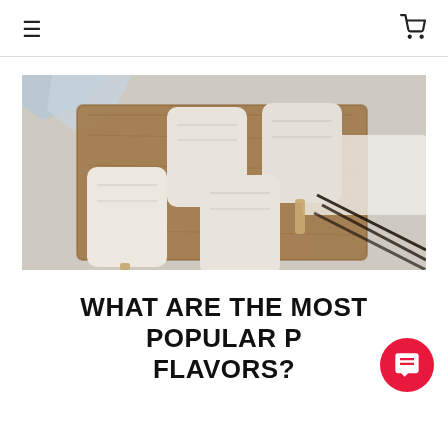≡  🛒
[Figure (photo): Four cream/vanilla colored ice cream popsicles on wooden sticks arranged on a wooden cutting board, with ice chunks and vanilla bean pods visible in the background on white cloth and marble surface.]
WHAT ARE THE MOST POPULAR P… FLAVORS?